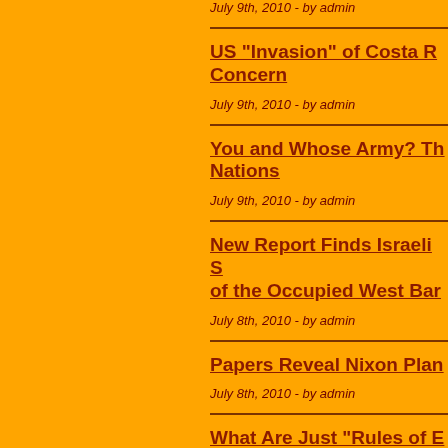July 9th, 2010 - by admin
US “Invasion” of Costa R... Concern
July 9th, 2010 - by admin
You and Whose Army? Th... Nations
July 9th, 2010 - by admin
New Report Finds Israeli S... of the Occupied West Ban...
July 8th, 2010 - by admin
Papers Reveal Nixon Plan...
July 8th, 2010 - by admin
What Are Just “Rules of E...